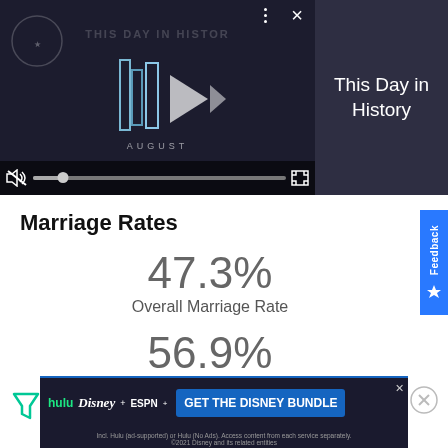[Figure (screenshot): Video player showing 'This Day in History' with play/skip controls, mute button, progress bar, and fullscreen button on dark background with 'AUGUST' text]
This Day in History
Marriage Rates
47.3%
Overall Marriage Rate
56.9%
Male Marriage Rate
39.1%
[Figure (screenshot): Advertisement banner for Disney Bundle featuring Hulu, Disney+, ESPN+ logos with 'GET THE DISNEY BUNDLE' CTA button]